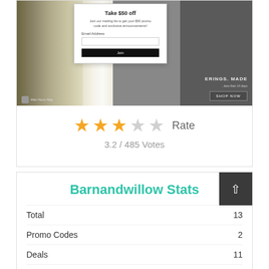[Figure (screenshot): Screenshot of Barnandwillow website showing a popup overlay with 'Take $50 off' offer, email signup form with Join button, curtain product imagery, and a shop now button on dark background]
★★★☆☆ Rate
3.2 / 485 Votes
Barnandwillow Stats
Total 13
Promo Codes 2
Deals 11
Max Discount 60%